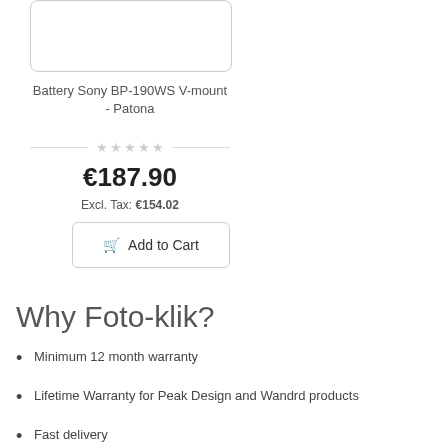[Figure (photo): Product image box for Battery Sony BP-190WS V-mount - Patona (white rectangle with border)]
Battery Sony BP-190WS V-mount - Patona
★★★★★ (star rating, all empty/grey)
€187.90
Excl. Tax: €154.02
Add to Cart
Why Foto-klik?
Minimum 12 month warranty
Lifetime Warranty for Peak Design and Wandrd products
Fast delivery
Professional shopping assistance